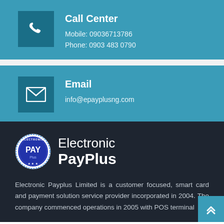Call Center
Mobile: 09036713786
Phone: 0903 483 0790
Email
info@epayplusng.com
[Figure (logo): Electronic PayPlus logo — circular badge with PAY text and company name]
Electronic Payplus Limited is a customer focused, smart card and payment solution service provider incorporated in 2004. The company commenced operations in 2005 with POS terminal